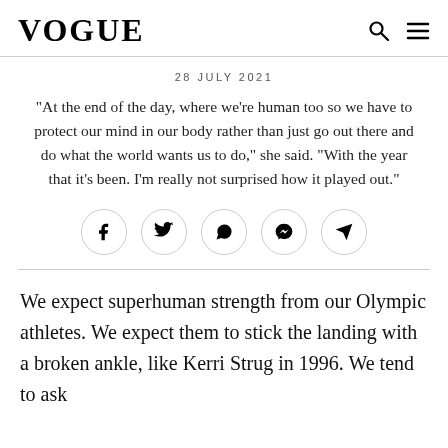VOGUE
28 JULY 2021
“At the end of the day, where we’re human too so we have to protect our mind in our body rather than just go out there and do what the world wants us to do,” she said. “With the year that it’s been. I’m really not surprised how it played out.”
[Figure (infographic): Social sharing buttons row: Facebook, Twitter, WhatsApp, Messenger, Telegram]
We expect superhuman strength from our Olympic athletes. We expect them to stick the landing with a broken ankle, like Kerri Strug in 1996. We tend to ask